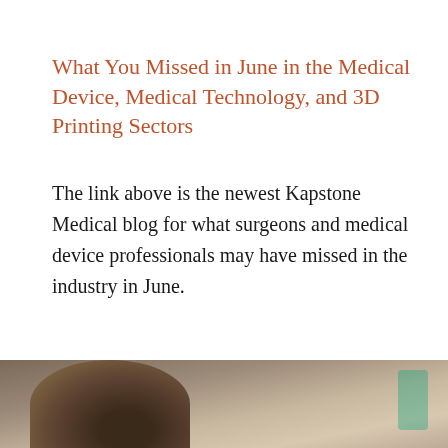What You Missed in June in the Medical Device, Medical Technology, and 3D Printing Sectors
The link above is the newest Kapstone Medical blog for what surgeons and medical device professionals may have missed in the industry in June.
CONTINUE READING →
[Figure (photo): Bottom portion of page showing a partial photo of a person with dark hair viewed from behind, working at a desk, with a blurred background.]